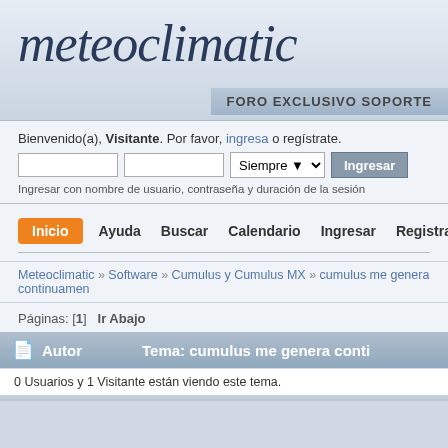meteoclimatic
FORO EXCLUSIVO SOPORTE
Bienvenido(a), Visitante. Por favor, ingresa o regístrate.
[Figure (screenshot): Login form with two text inputs, a dropdown showing 'Siempre', and an 'Ingresar' button]
Ingresar con nombre de usuario, contraseña y duración de la sesión
Inicio   Ayuda   Buscar   Calendario   Ingresar   Registrarse
Meteoclimatic » Software » Cumulus y Cumulus MX » cumulus me genera continuamen
Páginas: [1]   Ir Abajo
Autor   Tema: cumulus me genera conti
0 Usuarios y 1 Visitante están viendo este tema.